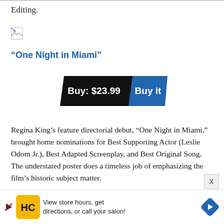Editing.
[Figure (illustration): Broken/missing image placeholder icon]
“One Night in Miami”
[Figure (infographic): Buy button showing 'Buy: $23.99' in black panel and 'Buy it' in blue panel]
Regina King’s feature directorial debut, “One Night in Miami,” brought home nominations for Best Supporting Actor (Leslie Odom Jr.), Best Adapted Screenplay, and Best Original Song. The understated poster does a timeless job of emphasizing the film’s historic subject matter.
[Figure (photo): Partially visible image strip at bottom of content area]
[Figure (infographic): Advertisement bar: HC logo, 'View store hours, get directions, or call your salon!' with navigation arrow]